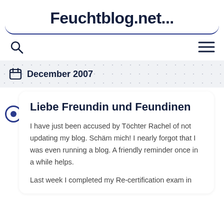Feuchtblog.net...
December 2007
Liebe Freundin und Feundinen
I have just been accused by Töchter Rachel of not updating my blog. Schäm mich! I nearly forgot that I was even running a blog. A friendly reminder once in a while helps.
Last week I completed my Re-certification exam in